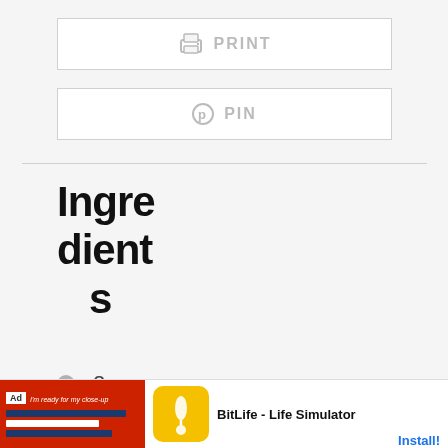[Figure (screenshot): PRINT button with printer icon, gray bordered rectangle]
[Figure (screenshot): PIN button with Pinterest icon, gray bordered rectangle]
Ingredients
2 Tablespoo
[Figure (screenshot): Ad banner: BitLife - Life Simulator app advertisement with Install button]